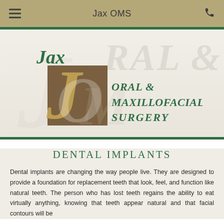Jax OMS
[Figure (logo): Jax Oral & Maxillofacial Surgery logo with decorative script JOM letters in brown/gold square, green text reading ORAL & MAXILLOFACIAL SURGERY, and watermark RAL & text in background]
Dental Implants
Dental implants are changing the way people live. They are designed to provide a foundation for replacement teeth that look, feel, and function like natural teeth. The person who has lost teeth regains the ability to eat virtually anything, knowing that teeth appear natural and that facial contours will be